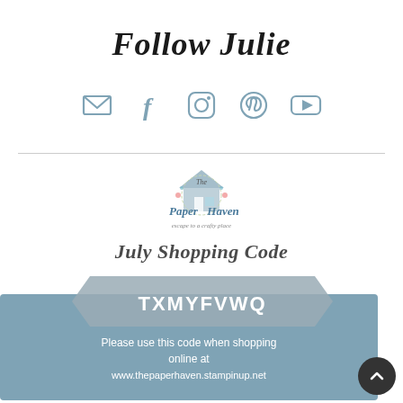Follow Julie
[Figure (infographic): Social media icons: email envelope, Facebook f, Instagram camera, Pinterest P, YouTube play button — all in muted blue-grey color]
[Figure (logo): The Paper Haven logo — illustrated house with flowers, text: The Paper Haven, escape to a crafty place]
July Shopping Code
[Figure (infographic): Shopping code banner: grey ribbon with code TXMYFVWQ on blue background, text: Please use this code when shopping online at www.thepaperhaven.stampinup.net]